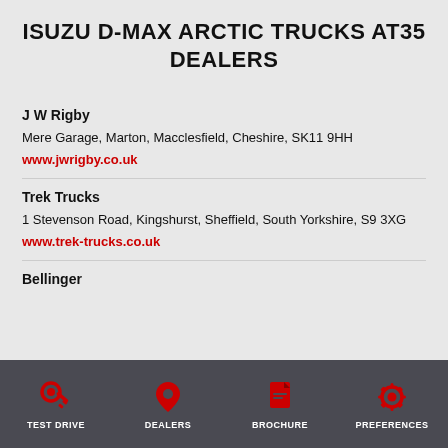ISUZU D-MAX ARCTIC TRUCKS AT35 DEALERS
J W Rigby
Mere Garage, Marton, Macclesfield, Cheshire, SK11 9HH
www.jwrigby.co.uk
Trek Trucks
1 Stevenson Road, Kingshurst, Sheffield, South Yorkshire, S9 3XG
www.trek-trucks.co.uk
Bellinger
TEST DRIVE | DEALERS | BROCHURE | PREFERENCES